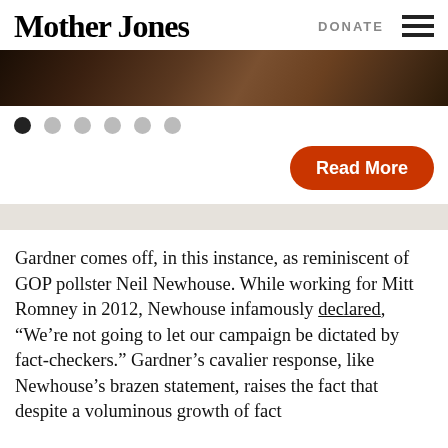Mother Jones | DONATE
[Figure (photo): Partial view of a decorative book or textile with floral/paisley pattern in dark brown/black tones]
[Figure (infographic): Carousel navigation dots (6 dots, first one filled/active)]
Read More
Gardner comes off, in this instance, as reminiscent of GOP pollster Neil Newhouse. While working for Mitt Romney in 2012, Newhouse infamously declared, “We’re not going to let our campaign be dictated by fact-checkers.” Gardner’s cavalier response, like Newhouse’s brazen statement, raises the fact that despite a voluminous growth of fact